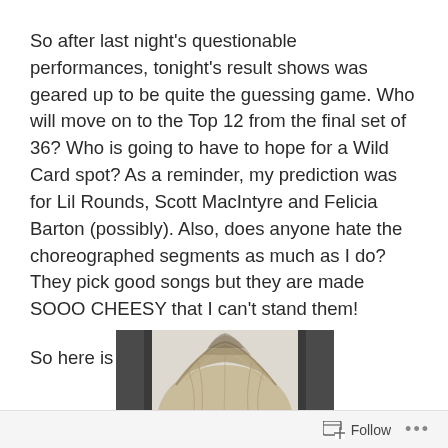So after last night's questionable performances, tonight's result shows was geared up to be quite the guessing game. Who will move on to the Top 12 from the final set of 36? Who is going to have to hope for a Wild Card spot? As a reminder, my prediction was for Lil Rounds, Scott MacIntyre and Felicia Barton (possibly). Also, does anyone hate the choreographed segments as much as I do? They pick good songs but they are made SOOO CHEESY that I can't stand them!
So here is who made it through…
[Figure (photo): Photo of a person showing the top of their head with blonde/light brown hair, flanked by two dark vertical bars on left and right sides.]
Follow ···